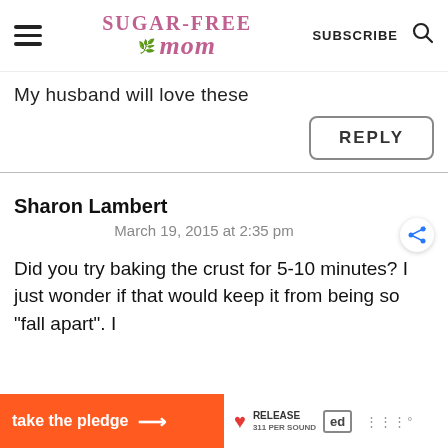Sugar-Free Mom — SUBSCRIBE
My husband will love these
REPLY
Sharon Lambert
March 19, 2015 at 2:35 pm
Did you try baking the crust for 5-10 minutes? I just wonder if that would keep it from being so "fall apart". I
take the pledge →